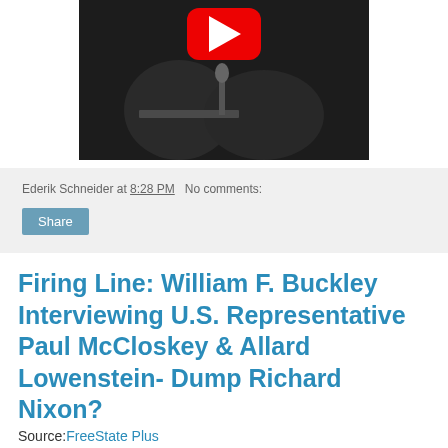[Figure (screenshot): YouTube video thumbnail showing a black and white scene of people at a table with a microphone, with the YouTube play button overlay at the top center]
Ederik Schneider at 8:28 PM   No comments:
Share
Firing Line: William F. Buckley Interviewing U.S. Representative Paul McCloskey & Allard Lowenstein- Dump Richard Nixon?
Source:FreeState Plus